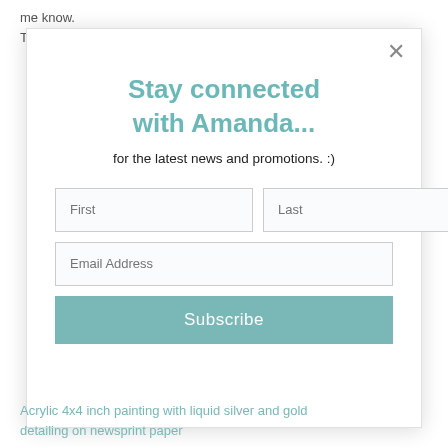me know.
Thank you
[Figure (screenshot): Modal popup with newsletter signup form. Title: 'Stay connected with Amanda...' Subtitle: 'for the latest news and promotions. :)'. Form fields: First, Last, Email Address. Subscribe button.]
Acrylic 4x4 inch painting with liquid silver and gold detailing on newsprint paper